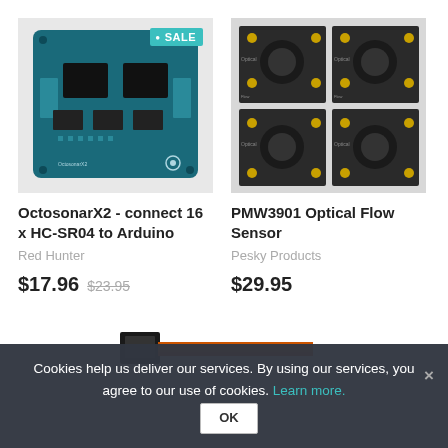[Figure (photo): OctosonarX2 circuit board (blue PCB with chips), showing a SALE badge in teal]
OctosonarX2 - connect 16 x HC-SR04 to Arduino
Red Hunter
$17.96 $23.95
[Figure (photo): PMW3901 Optical Flow Sensor, four dark square sensor modules on a gray surface with gold pins]
PMW3901 Optical Flow Sensor
Pesky Products
$29.95
[Figure (photo): Small electronic module with orange/red ribbon cable connector]
Cookies help us deliver our services. By using our services, you agree to our use of cookies. Learn more. OK